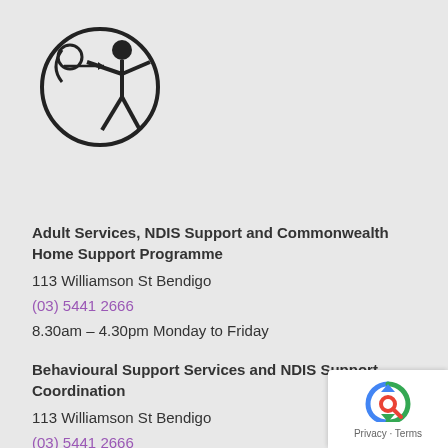[Figure (logo): Accessibility icon logo — a circle containing a stick figure with arms outstretched, overlapping a smaller archery/target figure, all in black on grey background]
Adult Services, NDIS Support and Commonwealth Home Support Programme
113 Williamson St Bendigo
(03) 5441 2666
8.30am – 4.30pm Monday to Friday
Behavioural Support Services and NDIS Support Coordination
113 Williamson St Bendigo
(03) 5441 2666